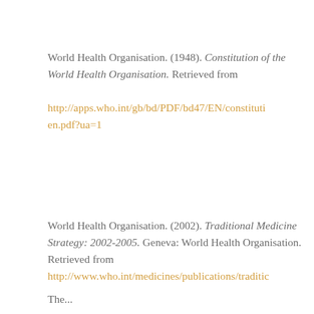World Health Organisation. (1948). Constitution of the World Health Organisation. Retrieved from http://apps.who.int/gb/bd/PDF/bd47/EN/constitution-en.pdf?ua=1
World Health Organisation. (2002). Traditional Medicine Strategy: 2002-2005. Geneva: World Health Organisation. Retrieved from http://www.who.int/medicines/publications/traditio...
The...